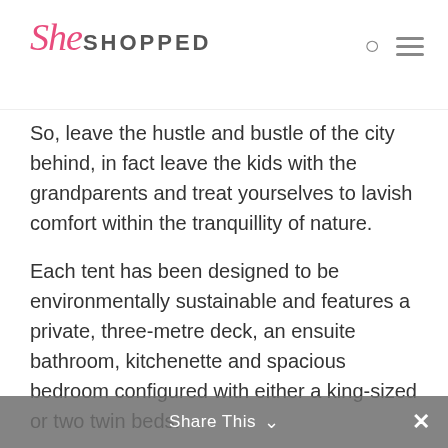SheSHOPPED
So, leave the hustle and bustle of the city behind, in fact leave the kids with the grandparents and treat yourselves to lavish comfort within the tranquillity of nature.
Each tent has been designed to be environmentally sustainable and features a private, three-metre deck, an ensuite bathroom, kitchenette and spacious bedroom configured with either a king-sized or two twin beds.
These award-winning tents designed by EcoStructures Australia are perfect to accommodate your birthday, hens' night, romantic getaway, girls' weekend or lone writing